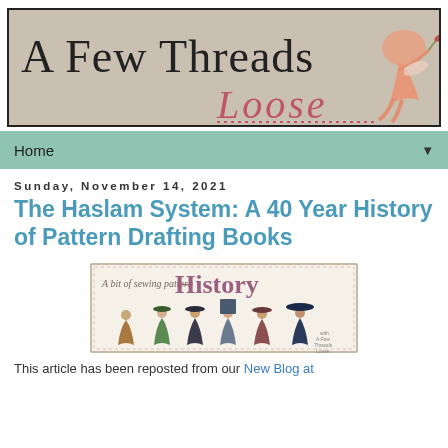[Figure (illustration): Blog header banner reading 'A Few Threads Loose' in a tan/beige background with decorative cursive pink text and a cherub/fairy figure on the right side]
Home ▼
Sunday, November 14, 2021
The Haslam System: A 40 Year History of Pattern Drafting Books
[Figure (illustration): Decorative banner with text 'A bit of sewing pattern History' showing vintage illustrations of women in Edwardian-era fashion]
This article has been reposted from our New Blog at